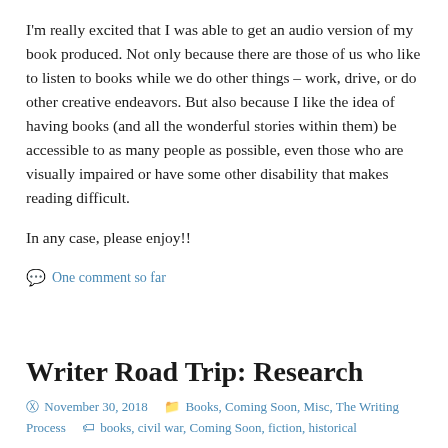I'm really excited that I was able to get an audio version of my book produced. Not only because there are those of us who like to listen to books while we do other things – work, drive, or do other creative endeavors. But also because I like the idea of having books (and all the wonderful stories within them) be accessible to as many people as possible, even those who are visually impaired or have some other disability that makes reading difficult.
In any case, please enjoy!!
One comment so far
Writer Road Trip: Research
November 30, 2018   Books, Coming Soon, Misc, The Writing Process   books, civil war, Coming Soon, fiction, historical